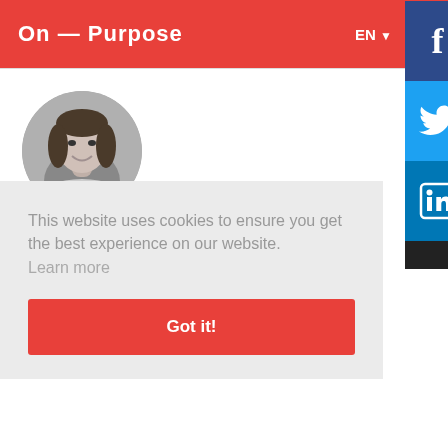On — Purpose  EN  ☰
[Figure (photo): Circular black and white profile photo of Victoire Guyot, a woman with shoulder-length hair, smiling.]
Written by Victoire Guyot
Published: 17 Dec 2020
This website uses cookies to ensure you get the best experience on our website.
Learn more
Got it!